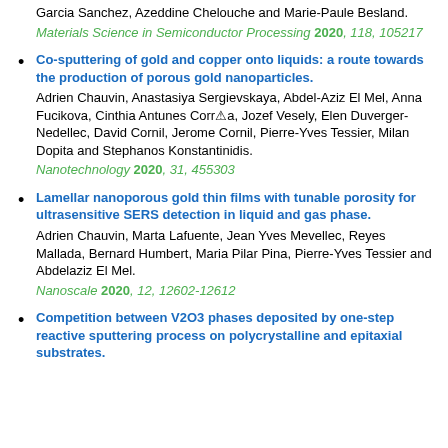Garcia Sanchez, Azeddine Chelouche and Marie-Paule Besland.
Materials Science in Semiconductor Processing 2020, 118, 105217
Co-sputtering of gold and copper onto liquids: a route towards the production of porous gold nanoparticles.
Adrien Chauvin, Anastasiya Sergievskaya, Abdel-Aziz El Mel, Anna Fucikova, Cinthia Antunes Corrêa, Jozef Vesely, Elen Duverger-Nedellec, David Cornil, Jerome Cornil, Pierre-Yves Tessier, Milan Dopita and Stephanos Konstantinidis.
Nanotechnology 2020, 31, 455303
Lamellar nanoporous gold thin films with tunable porosity for ultrasensitive SERS detection in liquid and gas phase.
Adrien Chauvin, Marta Lafuente, Jean Yves Mevellec, Reyes Mallada, Bernard Humbert, Maria Pilar Pina, Pierre-Yves Tessier and Abdelaziz El Mel.
Nanoscale 2020, 12, 12602-12612
Competition between V2O3 phases deposited by one-step reactive sputtering process on polycrystalline and epitaxial substrates.